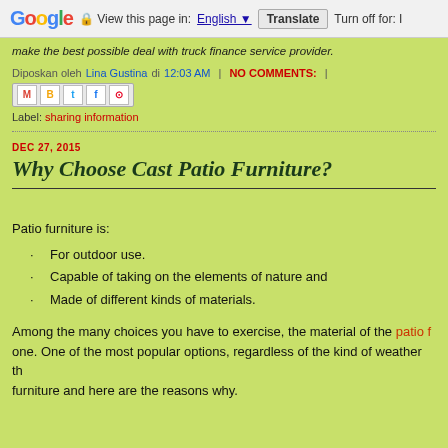Google | View this page in: English | Translate | Turn off for: I
make the best possible deal with truck finance service provider.
Diposkan oleh Lina Gustina di 12:03 AM | NO COMMENTS: | [share icons]
Label: sharing information
Why Choose Cast Patio Furniture?
Patio furniture is:
For outdoor use.
Capable of taking on the elements of nature and
Made of different kinds of materials.
Among the many choices you have to exercise, the material of the patio f one. One of the most popular options, regardless of the kind of weather th furniture and here are the reasons why.